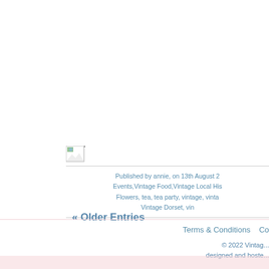[Figure (other): Broken/missing image placeholder icon]
Published by annie, on 13th August 2... Events,Vintage Food,Vintage Local Hi... Flowers, tea, tea party, vintage, vinta... Vintage Dorset, vin...
« Older Entries
Terms & Conditions   Co... © 2022 Vintag... designed and hoste...